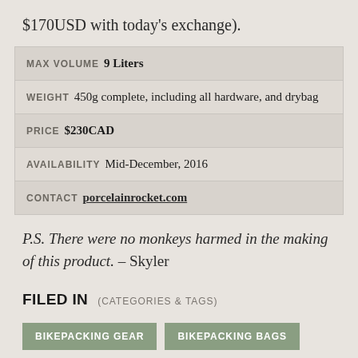$170USD with today's exchange).
| MAX VOLUME | 9 Liters |
| WEIGHT | 450g complete, including all hardware, and drybag |
| PRICE | $230CAD |
| AVAILABILITY | Mid-December, 2016 |
| CONTACT | porcelainrocket.com |
P.S. There were no monkeys harmed in the making of this product. – Skyler
FILED IN (CATEGORIES & TAGS)
BIKEPACKING GEAR
BIKEPACKING BAGS
#bikepacking-seat-packs  #full-supension-